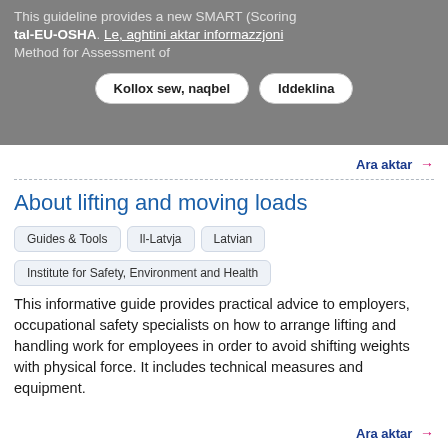This guideline provides a new SMART (Scoring Method for Assessment of tal-EU-OSHA. Le, aghtini aktar informazzjoni
Kollox sew, naqbel | Iddeklina
Ara aktar →
About lifting and moving loads
Guides & Tools
Il-Latvja
Latvian
Institute for Safety, Environment and Health
This informative guide provides practical advice to employers, occupational safety specialists on how to arrange lifting and handling work for employees in order to avoid shifting weights with physical force. It includes technical measures and equipment.
Ara aktar →